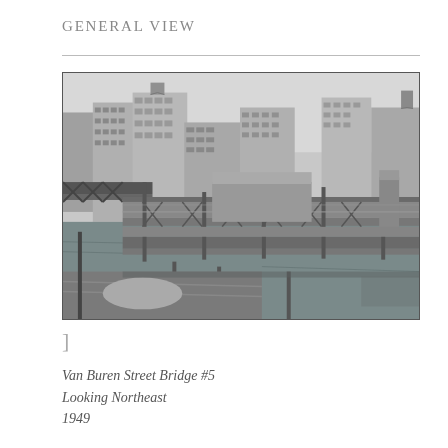GENERAL VIEW
[Figure (photo): Black and white aerial photograph of the Van Buren Street Bridge #5 over a river in Chicago, showing the bridge structure, elevated railway, surrounding urban buildings and skyline, looking northeast, taken in 1949.]
]
Van Buren Street Bridge #5
Looking Northeast
1949